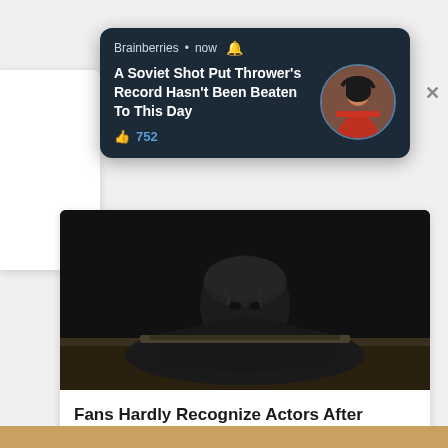[Figure (screenshot): Social media notification card from Brainberries with article title about Soviet Shot Put Thrower record, showing circular athlete photo and 752 likes]
Brainberries • now
A Soviet Shot Put Thrower's Record Hasn't Been Beaten To This Day
752
[Figure (photo): Dark dramatic photo of a figure covered in black material, appearing to emerge from a surface]
Fans Hardly Recognize Actors After These Drastic Transformations
More...
654  164  218